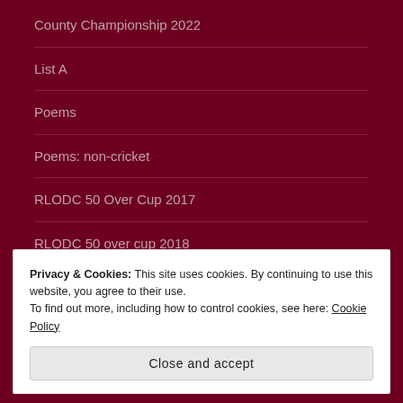County Championship 2022
List A
Poems
Poems: non-cricket
RLODC 50 Over Cup 2017
RLODC 50 over cup 2018
RLODC 50 Over Cup 2019
Privacy & Cookies: This site uses cookies. By continuing to use this website, you agree to their use.
To find out more, including how to control cookies, see here: Cookie Policy
Close and accept